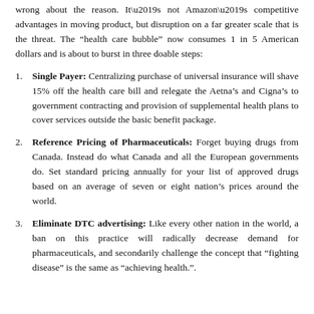wrong about the reason. It’s not Amazon’s competitive advantages in moving product, but disruption on a far greater scale that is the threat. The “health care bubble” now consumes 1 in 5 American dollars and is about to burst in three doable steps:
1. Single Payer: Centralizing purchase of universal insurance will shave 15% off the health care bill and relegate the Aetna’s and Cigna’s to government contracting and provision of supplemental health plans to cover services outside the basic benefit package.
2. Reference Pricing of Pharmaceuticals: Forget buying drugs from Canada. Instead do what Canada and all the European governments do. Set standard pricing annually for your list of approved drugs based on an average of seven or eight nation’s prices around the world.
3. Eliminate DTC advertising: Like every other nation in the world, a ban on this practice will radically decrease demand for pharmaceuticals, and secondarily challenge the concept that “fighting disease” is the same as “achieving health.”.